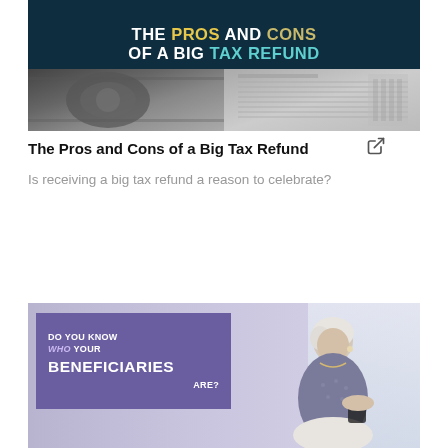[Figure (infographic): Banner image with dark navy background showing bold text 'THE PROS AND CONS OF A BIG TAX REFUND' with PROS in yellow, CONS in tan/gold, TAX REFUND in teal. Lower half shows grayscale image of cash money and tax forms.]
The Pros and Cons of a Big Tax Refund
Is receiving a big tax refund a reason to celebrate?
[Figure (infographic): Image showing a purple/dark overlay box with text 'DO YOU KNOW WHO YOUR BENEFICIARIES ARE?' and a photo of an older woman with white hair sitting by a window holding a cup.]